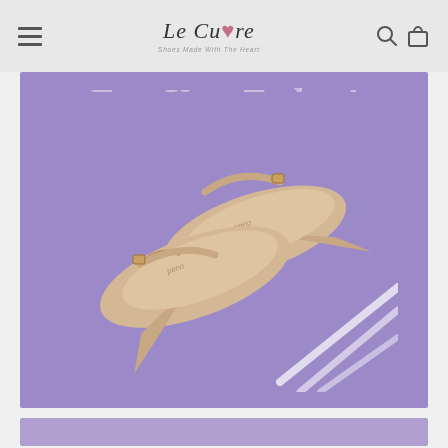Le Cuore — Shoes Made With The Heart
[Figure (photo): Product photo of a pair of nude/beige pointed-toe D'Orsay flats with ankle strap and gold buckle, arranged on a purple/lavender background with white diagonal chalk-style lines in the lower right corner and partially visible italic white text at the top reading something like 'For You Today!']